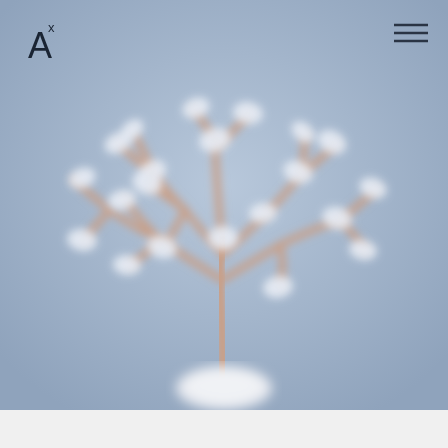[Figure (photo): Blurred photograph of a wire tree sculpture with white crystal/stone beads at branch tips against a soft blue-grey background. The sculpture sits on a white crystalline base. A logo appears in the top-left corner and a hamburger menu icon in the top-right corner.]
AXA logo (A with superscript X) top left; hamburger menu icon top right